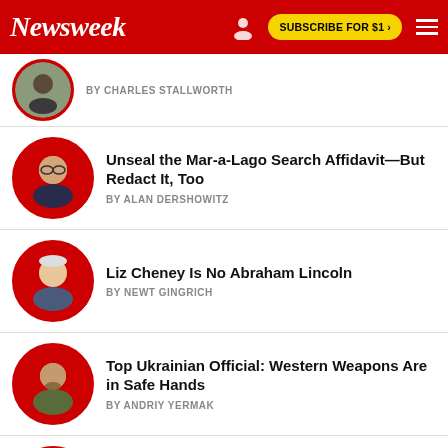Newsweek | SUBSCRIBE FOR $1 >
BY CHARLES STALLWORTH
Unseal the Mar-a-Lago Search Affidavit—But Redact It, Too
BY ALAN DERSHOWITZ
Liz Cheney Is No Abraham Lincoln
BY NEWT GINGRICH
Top Ukrainian Official: Western Weapons Are in Safe Hands
BY ANDRIY YERMAK
The Republic of Fatwas
BY MARK DUBOWITZ AND SAEED GHASSEMINEJAD
Midterm Elections Offer Voters a Referendum...